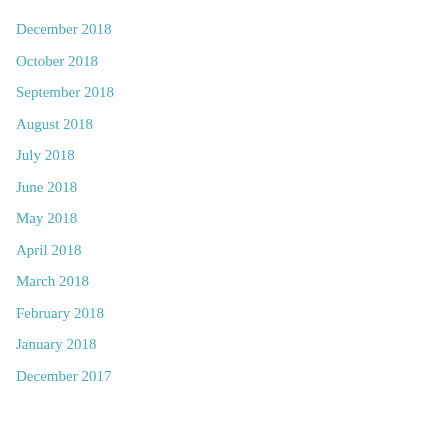December 2018
October 2018
September 2018
August 2018
July 2018
June 2018
May 2018
April 2018
March 2018
February 2018
January 2018
December 2017